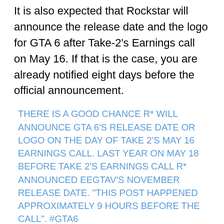It is also expected that Rockstar will announce the release date and the logo for GTA 6 after Take-2's Earnings call on May 16. If that is the case, you are already notified eight days before the official announcement.
THERE IS A GOOD CHANCE R* WILL ANNOUNCE GTA 6'S RELEASE DATE OR LOGO ON THE DAY OF TAKE 2'S MAY 16 EARNINGS CALL. LAST YEAR ON MAY 18 BEFORE TAKE 2'S EARNINGS CALL R* ANNOUNCED EEGTAV'S NOVEMBER RELEASE DATE. "THIS POST HAPPENED APPROXIMATELY 9 HOURS BEFORE THE CALL". #GTA6 PIC.TWITTER.COM/LEAPOD5LUX
— GTA 6 NEWS & LEAKS (@NEWSLEAKSGTA6)